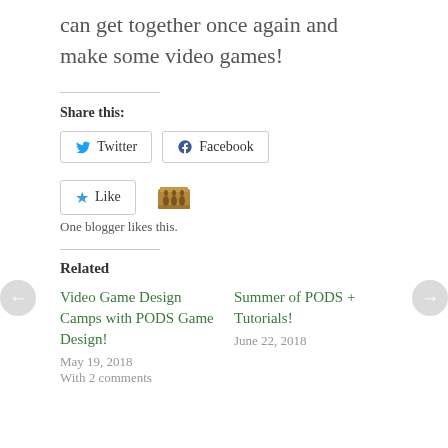can get together once again and make some video games!
Share this:
[Figure (other): Share buttons for Twitter and Facebook]
[Figure (other): Like button with blogger avatar and text 'One blogger likes this.']
Related
Video Game Design Camps with PODS Game Design!
May 19, 2018
With 2 comments
Summer of PODS + Tutorials!
June 22, 2018